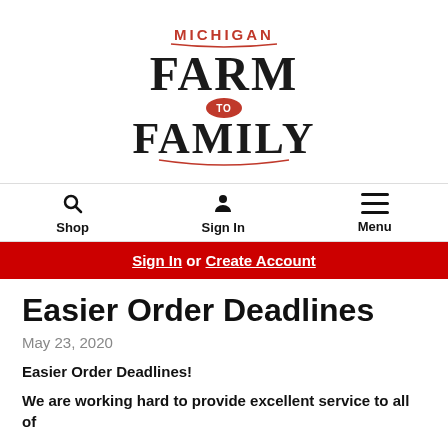[Figure (logo): Michigan Farm to Family logo with stylized text]
Shop   Sign In   Menu
Sign In or Create Account
Easier Order Deadlines
May 23, 2020
Easier Order Deadlines!
We are working hard to provide excellent service to all of